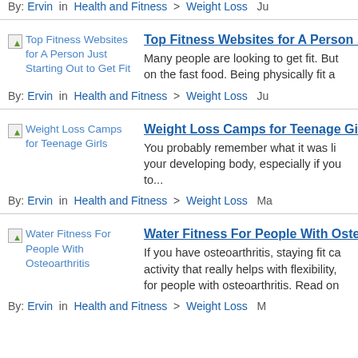By: Ervin in Health and Fitness > Weight Loss  Ju...
[Figure (other): Thumbnail image placeholder for 'Top Fitness Websites for A Person Just Starting Out to Get Fit']
Top Fitness Websites for A Person ...
Many people are looking to get fit. But... on the fast food. Being physically fit a...
By: Ervin in Health and Fitness > Weight Loss  Ju...
[Figure (other): Thumbnail image placeholder for 'Weight Loss Camps for Teenage Girls']
Weight Loss Camps for Teenage Gi...
You probably remember what it was li... your developing body, especially if you... to...
By: Ervin in Health and Fitness > Weight Loss  Ma...
[Figure (other): Thumbnail image placeholder for 'Water Fitness For People With Osteoarthritis']
Water Fitness For People With Oste...
If you have osteoarthritis, staying fit ca... activity that really helps with flexibility,... for people with osteoarthritis. Read on...
By: Ervin in Health and Fitness > Weight Loss ...